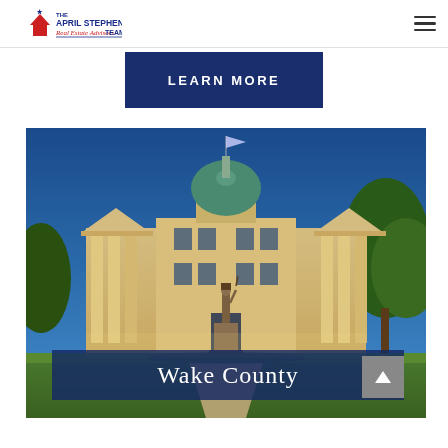[Figure (logo): The April Stephens Real Estate Advisors Team logo with red and blue house/star graphic]
[Figure (other): Hamburger menu icon (three horizontal lines)]
LEARN MORE
[Figure (photo): NC State Capitol building at dusk with a bronze soldier statue in foreground, blue evening sky, and trees on right]
Wake County